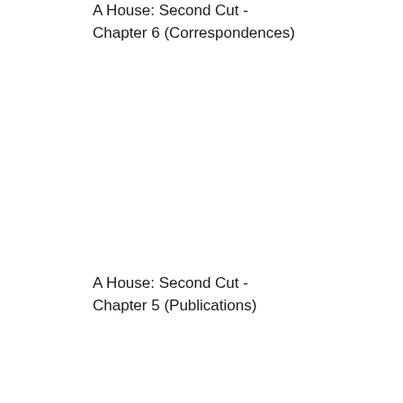A House: Second Cut -
Chapter 6 (Correspondences)
A House: Second Cut -
Chapter 5 (Publications)